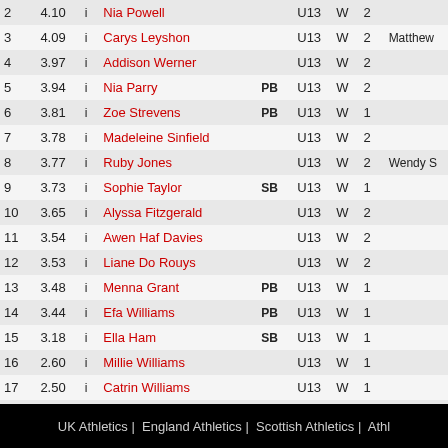| Pos | Perf | Wind | Name | Flag | Age | Gender | Round | Extra |
| --- | --- | --- | --- | --- | --- | --- | --- | --- |
| 2 | 4.10 | i | Nia Powell |  | U13 | W | 2 |  |
| 3 | 4.09 | i | Carys Leyshon |  | U13 | W | 2 | Matthew |
| 4 | 3.97 | i | Addison Werner |  | U13 | W | 2 |  |
| 5 | 3.94 | i | Nia Parry | PB | U13 | W | 2 |  |
| 6 | 3.81 | i | Zoe Strevens | PB | U13 | W | 1 |  |
| 7 | 3.78 | i | Madeleine Sinfield |  | U13 | W | 2 |  |
| 8 | 3.77 | i | Ruby Jones |  | U13 | W | 2 | Wendy S |
| 9 | 3.73 | i | Sophie Taylor | SB | U13 | W | 1 |  |
| 10 | 3.65 | i | Alyssa Fitzgerald |  | U13 | W | 2 |  |
| 11 | 3.54 | i | Awen Haf Davies |  | U13 | W | 2 |  |
| 12 | 3.53 | i | Liane Do Rouys |  | U13 | W | 2 |  |
| 13 | 3.48 | i | Menna Grant | PB | U13 | W | 1 |  |
| 14 | 3.44 | i | Efa Williams | PB | U13 | W | 1 |  |
| 15 | 3.18 | i | Ella Ham | SB | U13 | W | 1 |  |
| 16 | 2.60 | i | Millie Williams |  | U13 | W | 1 |  |
| 17 | 2.50 | i | Catrin Williams |  | U13 | W | 1 |  |
| - | NM | i | Evie Hurley |  | U13 | W | 1 |  |
UK Athletics | England Athletics | Scottish Athletics | Athl